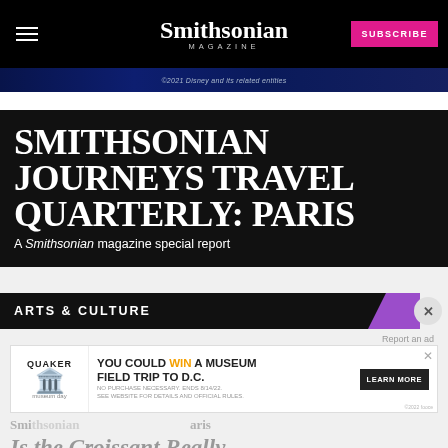Smithsonian MAGAZINE
[Figure (screenshot): Disney advertisement banner strip with text '©2021 Disney and its related entities']
SMITHSONIAN JOURNEYS TRAVEL QUARTERLY: PARIS
A Smithsonian magazine special report
ARTS & CULTURE
Report an ad
[Figure (screenshot): Quaker advertisement: YOU COULD WIN A MUSEUM FIELD TRIP TO D.C. LEARN MORE. No purchase necessary. Ends 8/14/22. See website for details and official rules.]
Smithsonian ... Paris
Is the Croissant Really